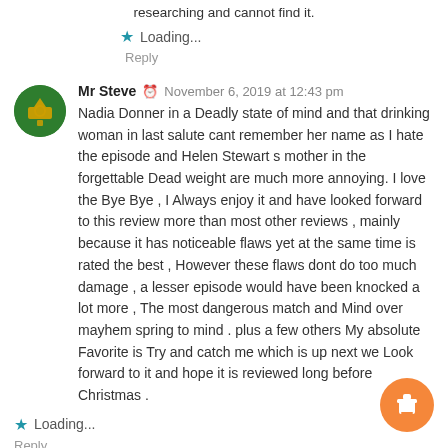researching and cannot find it.
Loading...
Reply
Mr Steve  November 6, 2019 at 12:43 pm
Nadia Donner in a Deadly state of mind and that drinking woman in last salute cant remember her name as I hate the episode and Helen Stewart s mother in the forgettable Dead weight are much more annoying. I love the Bye Bye , I Always enjoy it and have looked forward to this review more than most other reviews , mainly because it has noticeable flaws yet at the same time is rated the best , However these flaws dont do too much damage , a lesser episode would have been knocked a lot more , The most dangerous match and Mind over mayhem spring to mind . plus a few others My absolute Favorite is Try and catch me which is up next we Look forward to it and hope it is reviewed long before Christmas .
Loading...
Reply